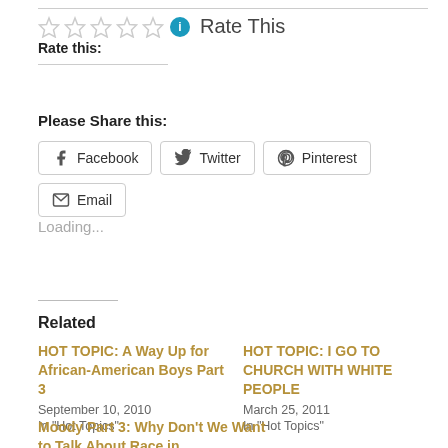Rate this:
Rate This
Please Share this:
Facebook  Twitter  Pinterest  Email
Loading...
Related
HOT TOPIC: A Way Up for African-American Boys Part 3
September 10, 2010
In "Hot Topics"
HOT TOPIC: I GO TO CHURCH WITH WHITE PEOPLE
March 25, 2011
In "Hot Topics"
Moody Part 3: Why Don't We Want to Talk About Race in